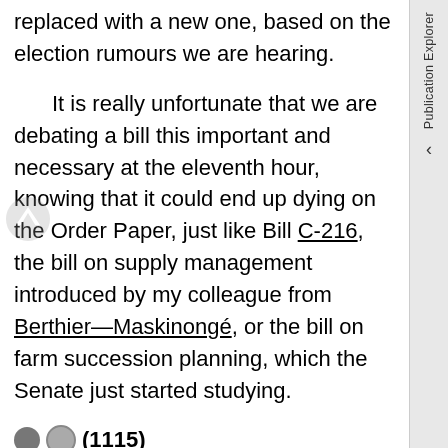replaced with a new one, based on the election rumours we are hearing.
It is really unfortunate that we are debating a bill this important and necessary at the eleventh hour, knowing that it could end up dying on the Order Paper, just like Bill C-216, the bill on supply management introduced by my colleague from Berthier—Maskinongé, or the bill on farm succession planning, which the Senate just started studying.
(1115)
On this third point, I want to say how disappointed we are with the government's management of the legislative